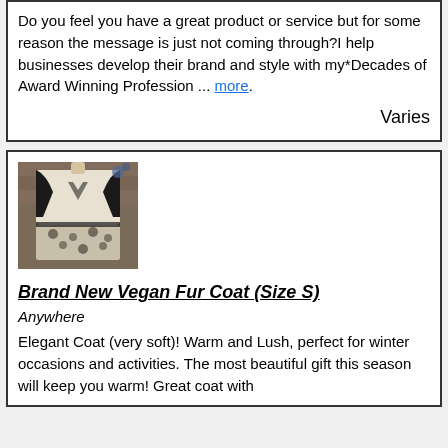Do you feel you have a great product or service but for some reason the message is just not coming through?I help businesses develop their brand and style with my*Decades of Award Winning Profession ... more
Varies
[Figure (photo): Photo of a cream and black vegan fur coat displayed on a dress form/mannequin against a wooden background with holiday decorations]
Brand New Vegan Fur Coat (Size S)
Anywhere
Elegant Coat (very soft)! Warm and Lush, perfect for winter occasions and activities. The most beautiful gift this season will keep you warm! Great coat with